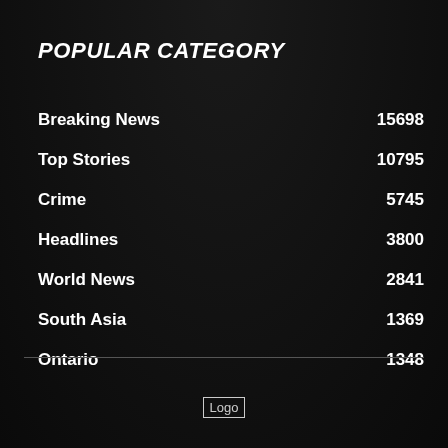POPULAR CATEGORY
Breaking News    15698
Top Stories    10795
Crime    5745
Headlines    3800
World News    2841
South Asia    1369
Ontario    1348
[Figure (logo): Logo image at bottom center]